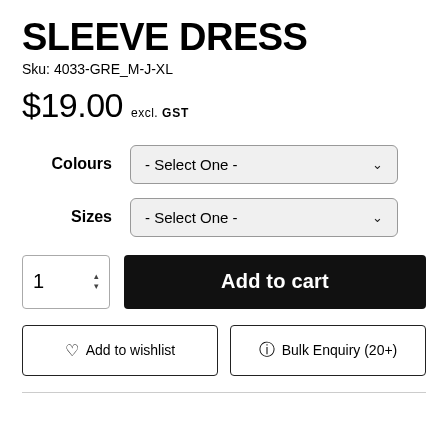SLEEVE DRESS
Sku: 4033-GRE_M-J-XL
$19.00 excl. GST
Colours - Select One -
Sizes - Select One -
1  Add to cart
♡ Add to wishlist
⊙ Bulk Enquiry (20+)